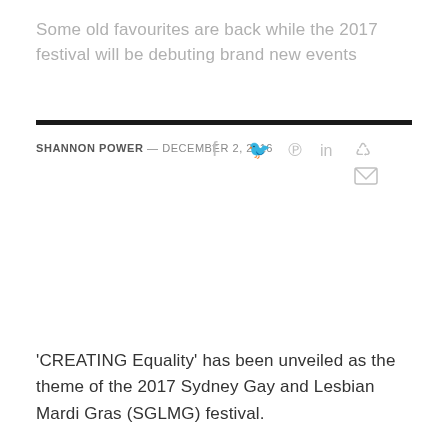Some old favourites are back while the 2017 festival will be debuting brand new events
SHANNON POWER — DECEMBER 2, 2016
[Figure (other): Social media sharing icons: facebook, twitter, pinterest, linkedin, reddit, email]
'CREATING Equality' has been unveiled as the theme of the 2017 Sydney Gay and Lesbian Mardi Gras (SGLMG) festival.